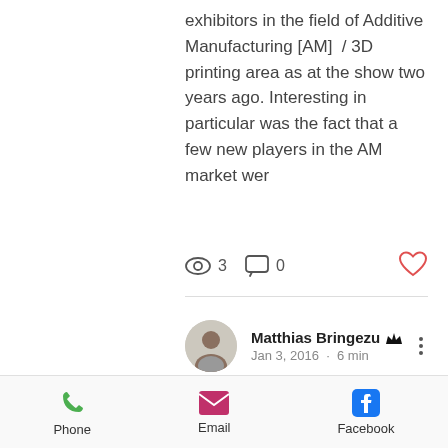exhibitors in the field of Additive Manufacturing [AM]  / 3D printing area as at the show two years ago. Interesting in particular was the fact that a few new players in the AM market wer
3   0
Matthias Bringezu  Jan 3, 2016 · 6 min
FORMNEXT 2015
Phone   Email   Facebook